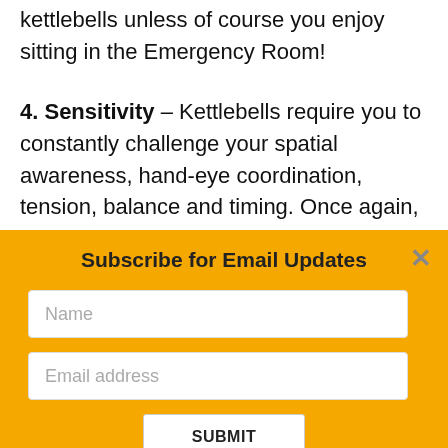kettlebells unless of course you enjoy sitting in the Emergency Room!
4. Sensitivity – Kettlebells require you to constantly challenge your spatial awareness, hand-eye coordination, tension, balance and timing. Once again, these are all very martial skills that will cross over into your training and
Subscribe for Email Updates
Name
Email address
SUBMIT